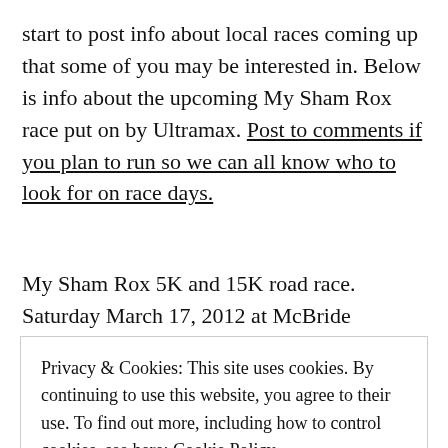start to post info about local races coming up that some of you may be interested in. Below is info about the upcoming My Sham Rox race put on by Ultramax. Post to comments if you plan to run so we can all know who to look for on race days.
My Sham Rox 5K and 15K road race. Saturday March 17, 2012 at McBride Elementary
Privacy & Cookies: This site uses cookies. By continuing to use this website, you agree to their use. To find out more, including how to control cookies, see here: Cookie Policy
Close and accept